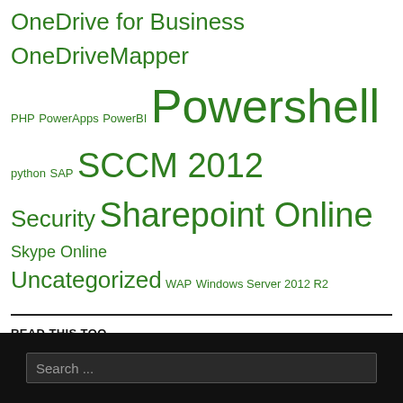OneDrive for Business OneDriveMapper PHP PowerApps PowerBI Powershell python SAP SCCM 2012 Security Sharepoint Online Skype Online Uncategorized WAP Windows Server 2012 R2
READ THIS TOO
TunedIn
IAM Cloud Drive Mapper
Jelle Broekhuijsen
John Seerden
Mr Intune
Search ...